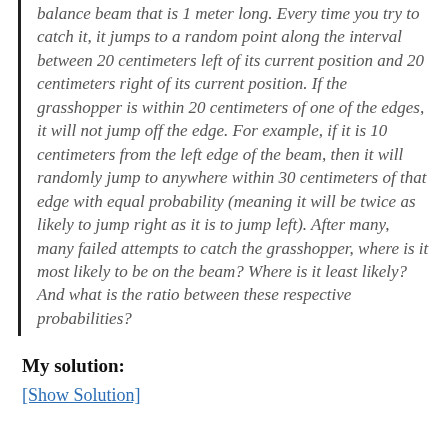balance beam that is 1 meter long. Every time you try to catch it, it jumps to a random point along the interval between 20 centimeters left of its current position and 20 centimeters right of its current position. If the grasshopper is within 20 centimeters of one of the edges, it will not jump off the edge. For example, if it is 10 centimeters from the left edge of the beam, then it will randomly jump to anywhere within 30 centimeters of that edge with equal probability (meaning it will be twice as likely to jump right as it is to jump left). After many, many failed attempts to catch the grasshopper, where is it most likely to be on the beam? Where is it least likely? And what is the ratio between these respective probabilities?
My solution:
[Show Solution]